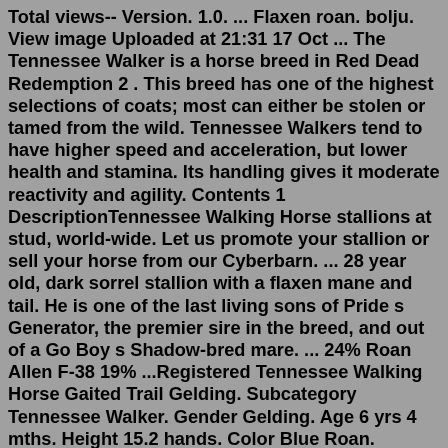Total views-- Version. 1.0. ... Flaxen roan. bolju. View image Uploaded at 21:31 17 Oct ... The Tennessee Walker is a horse breed in Red Dead Redemption 2 . This breed has one of the highest selections of coats; most can either be stolen or tamed from the wild. Tennessee Walkers tend to have higher speed and acceleration, but lower health and stamina. Its handling gives it moderate reactivity and agility. Contents 1 DescriptionTennessee Walking Horse stallions at stud, world-wide. Let us promote your stallion or sell your horse from our Cyberbarn. ... 28 year old, dark sorrel stallion with a flaxen mane and tail. He is one of the last living sons of Pride s Generator, the premier sire in the breed, and out of a Go Boy s Shadow-bred mare. ... 24% Roan Allen F-38 19% ...Registered Tennessee Walking Horse Gaited Trail Gelding. Subcategory Tennessee Walker. Gender Gelding. Age 6 yrs 4 mths. Height 15.2 hands. Color Blue Roan. Location Bruceton, TN 38317. OPEN BIDDING ON THEHORSEBAY DOT COM. SALE ENDS ON 7/30 @ 3: 30PM CT. How... Reality Wiki...